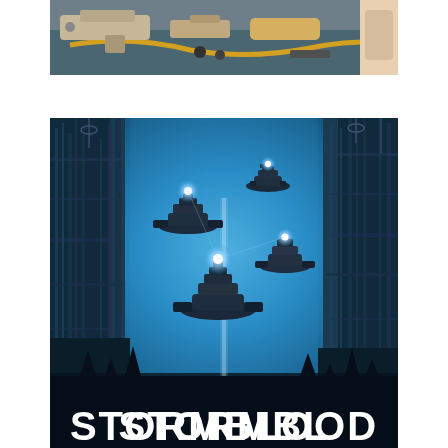[Figure (illustration): Top portion of an illustrated/comic-style image showing weapons or tools laid out on a surface — appears to be guns, a yellow cord/rope, and other equipment on a blue-grey background, with partial view of a character's hand/arm at the right edge.]
[Figure (photo): Book or game cover art for 'STORMBLOOD' — a sci-fi scene showing multiple flying spacecraft/warships hovering between massive futuristic city skyscrapers, all bathed in a vivid blue atmospheric haze. The title 'STORMBLOOD' appears in large bold white letters at the bottom of the image.]